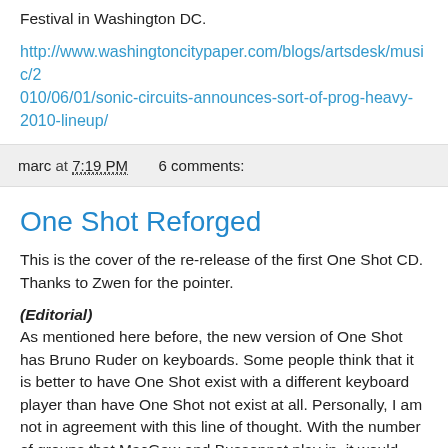Festival in Washington DC.
http://www.washingtoncitypaper.com/blogs/artsdesk/music/2010/06/01/sonic-circuits-announces-sort-of-prog-heavy-2010-lineup/
marc at 7:19 PM    6 comments:
One Shot Reforged
This is the cover of the re-release of the first One Shot CD. Thanks to Zwen for the pointer.
(Editorial)
As mentioned here before, the new version of One Shot has Bruno Ruder on keyboards. Some people think that it is better to have One Shot exist with a different keyboard player than have One Shot not exist at all. Personally, I am not in agreement with this line of thought. With the number of groups that MacGaw and Bussonnet play in, it would have